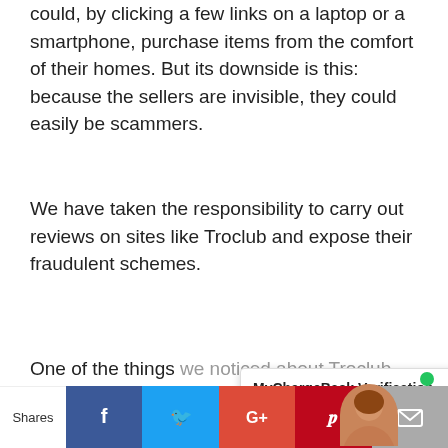could, by clicking a few links on a laptop or a smartphone, purchase items from the comfort of their homes. But its downside is this: because the sellers are invisible, they could easily be scammers.
We have taken the responsibility to carry out reviews on sites like Troclub and expose their fraudulent schemes.
One of the things we noticed about Troclub is that no positive [reviews exist] about them. Usually authentic positive reviews are a sign that an online store is reliable.
Shares  [Facebook] [Twitter] [Google+] [Pinterest] [Email]